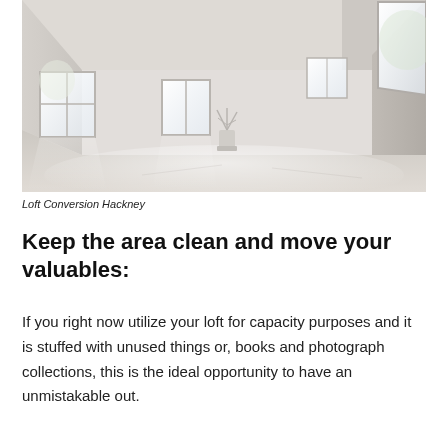[Figure (photo): A bright, minimalist white loft room with large windows, a slanted ceiling on the right side, and a single white plant pot in the center. The floor is light wood and walls are white. Natural light streams through multiple windows.]
Loft Conversion Hackney
Keep the area clean and move your valuables:
If you right now utilize your loft for capacity purposes and it is stuffed with unused things or, books and photograph collections, this is the ideal opportunity to have an unmistakable out.